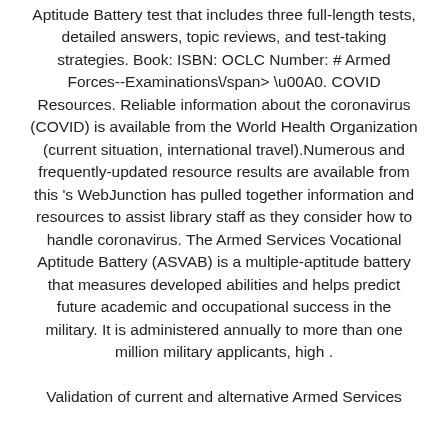Aptitude Battery test that includes three full-length tests, detailed answers, topic reviews, and test-taking strategies. Book: ISBN: OCLC Number: # Armed Forces--Examinations\/span> \u00A0. COVID Resources. Reliable information about the coronavirus (COVID) is available from the World Health Organization (current situation, international travel).Numerous and frequently-updated resource results are available from this 's WebJunction has pulled together information and resources to assist library staff as they consider how to handle coronavirus. The Armed Services Vocational Aptitude Battery (ASVAB) is a multiple-aptitude battery that measures developed abilities and helps predict future academic and occupational success in the military. It is administered annually to more than one million military applicants, high .
Validation of current and alternative Armed Services